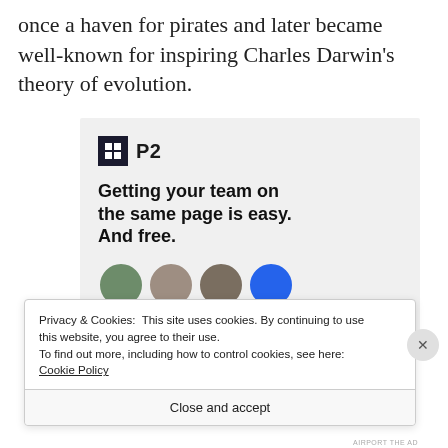once a haven for pirates and later became well-known for inspiring Charles Darwin's theory of evolution.
[Figure (screenshot): Advertisement for P2 (WordPress P2 theme). Shows the P2 logo (dark square with grid icon and 'P2' text), bold headline 'Getting your team on the same page is easy. And free.' and four avatar circles at the bottom.]
Privacy & Cookies: This site uses cookies. By continuing to use this website, you agree to their use. To find out more, including how to control cookies, see here: Cookie Policy
Close and accept
AIRPORT THE AD